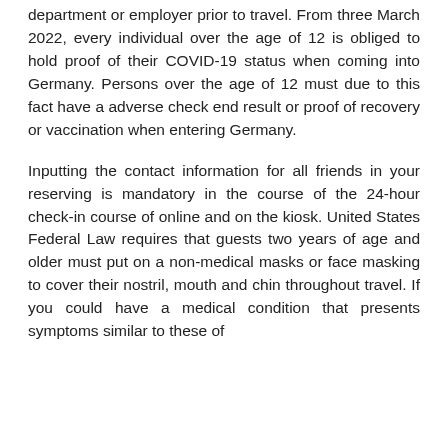department or employer prior to travel. From three March 2022, every individual over the age of 12 is obliged to hold proof of their COVID-19 status when coming into Germany. Persons over the age of 12 must due to this fact have a adverse check end result or proof of recovery or vaccination when entering Germany.
Inputting the contact information for all friends in your reserving is mandatory in the course of the 24-hour check-in course of online and on the kiosk. United States Federal Law requires that guests two years of age and older must put on a non-medical masks or face masking to cover their nostril, mouth and chin throughout travel. If you could have a medical condition that presents symptoms similar to these of